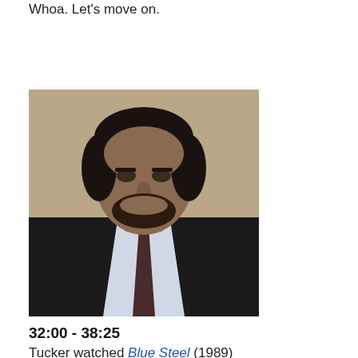Whoa. Let's move on.
[Figure (photo): A man with dark hair and beard wearing a dark suit with a dark tie and white shirt, photographed indoors against a light background.]
32:00 - 38:25
Tucker watched Blue Steel (1989) directed by Kathryn Bigelow. Also